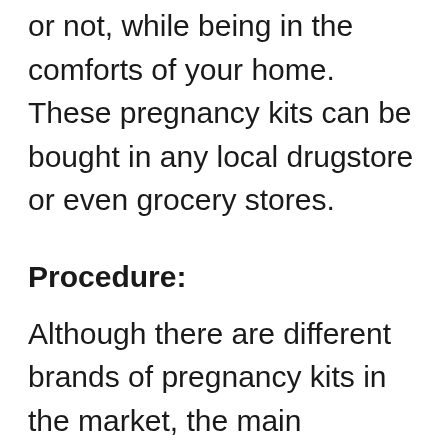or not, while being in the comforts of your home. These pregnancy kits can be bought in any local drugstore or even grocery stores.
Procedure:
Although there are different brands of pregnancy kits in the market, the main procedure is quite the same for all of them. You urinate to one side of the stick and after some minutes if there is a pink sign on the stick, you are pregnant and if the sign turns blue, you need to wait another month for the good news.
As I mentioned above, all of these